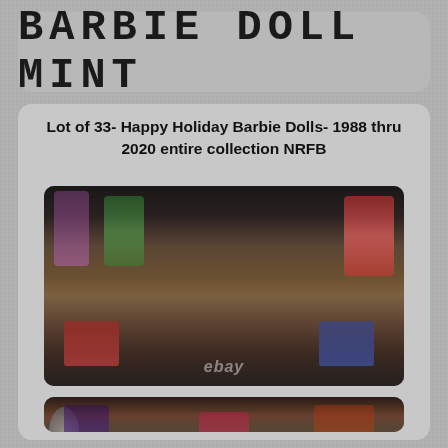BARBIE DOLL MINT
Lot of 33- Happy Holiday Barbie Dolls- 1988 thru 2020 entire collection NRFB
[Figure (photo): Photograph showing a large collection of Happy Holiday Barbie Doll boxes arranged in rows on a floor, with eBay watermark]
[Figure (photo): Partial photograph showing another view of the Barbie doll collection boxes]